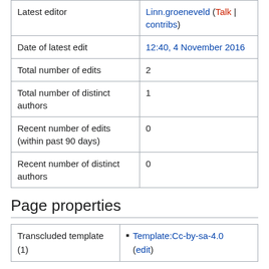|  |  |
| --- | --- |
| Latest editor | Linn.groeneveld (Talk | contribs) |
| Date of latest edit | 12:40, 4 November 2016 |
| Total number of edits | 2 |
| Total number of distinct authors | 1 |
| Recent number of edits (within past 90 days) | 0 |
| Recent number of distinct authors | 0 |
Page properties
|  |  |
| --- | --- |
| Transcluded template (1) | Template:Cc-by-sa-4.0 (edit) |